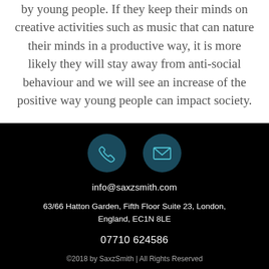by young people. If they keep their minds on creative activities such as music that can nature their minds in a productive way, it is more likely they will stay away from anti-social behaviour and we will see an increase of the positive way young people can impact society.
[Figure (illustration): Two circular dark teal icons on a black background: a phone icon on the left and an envelope/email icon on the right.]
info@saxzsmith.com
63/66 Hatton Garden, Fifth Floor Suite 23, London, England, EC1N 8LE
07710 624586
©2018 by SaxzSmith | All Rights Reserved